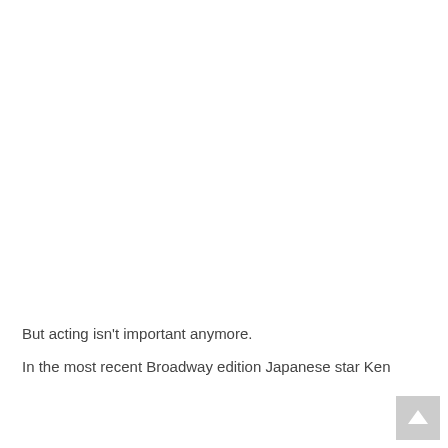But acting isn't important anymore.
In the most recent Broadway edition Japanese star Ken